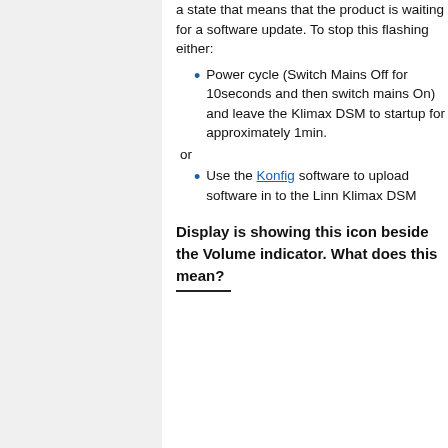a state that means that the product is waiting for a software update. To stop this flashing either:
Power cycle (Switch Mains Off for 10seconds and then switch mains On) and leave the Klimax DSM to startup for approximately 1min.
or
Use the Konfig software to upload software in to the Linn Klimax DSM
Display is showing this icon beside the Volume indicator. What does this mean?